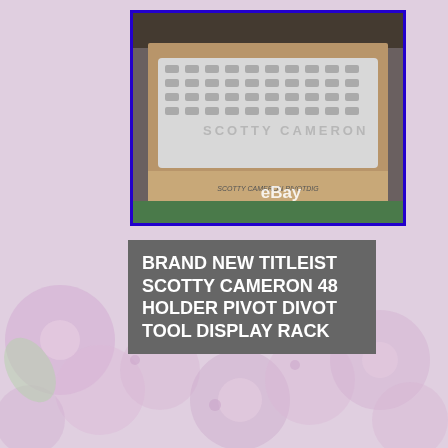[Figure (photo): Photo of a brand new Titleist Scotty Cameron 48 Holder Pivot Divot Tool Display Rack inside a cardboard box, with eBay watermark visible]
BRAND NEW TITLEIST SCOTTY CAMERON 48 HOLDER PIVOT DIVOT TOOL DISPLAY RACK